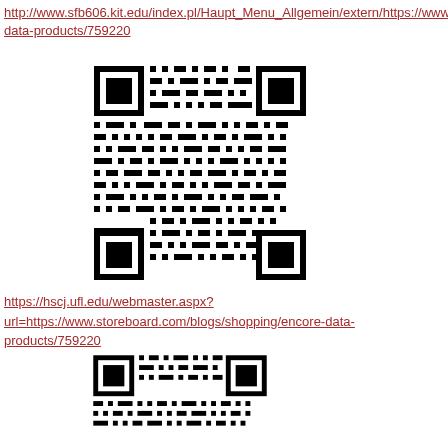http://www.sfb606.kit.edu/index.pl/Haupt_Menu_Allgemein/extern/https://www.storeboard.com/blogs/shopping/encore-data-products/759220
[Figure (other): QR code linking to storeboard.com encore-data-products/759220]
https://hscj.ufl.edu/webmaster.aspx?url=https://www.storeboard.com/blogs/shopping/encore-data-products/759220
[Figure (other): QR code linking to storeboard.com encore-data-products/759220]
https://lazaris01.worldsecuresystems.com/Redirect.aspx?destination=https://www.storeboard.com/blogs/shopping/encore-data-products/759220
[Figure (other): QR code (partial, bottom of page) linking to storeboard.com encore-data-products/759220]